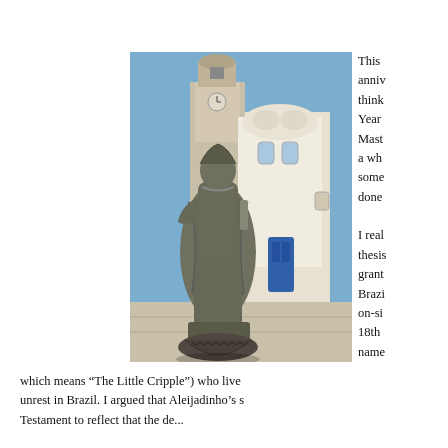[Figure (photo): Stone statue of a robed figure holding an object, positioned in front of a white baroque church building with a blue door and bell tower, under a blue sky.]
This anniversary think Year Mast a wh some done I real thesis grant Brazi on-si 18th name
which means “The Little Cripple”) who live unrest in Brazil. I argued that Aleijadinho’s s Testament to reflect that the de...